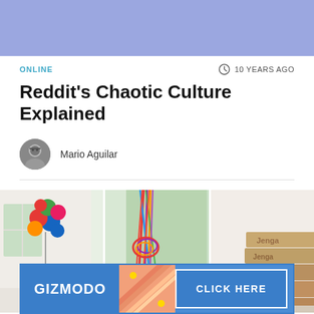[Figure (other): Light blue/periwinkle advertisement banner at top of page]
ONLINE
10 YEARS AGO
Reddit's Chaotic Culture Explained
[Figure (photo): Small circular avatar photo of Mario Aguilar, a man with glasses]
Mario Aguilar
[Figure (photo): Three-panel image strip: left panel shows colorful balloons on a stick in a white room, middle panel shows colorful ribbons/streamers tied in a knot near a window, right panel shows stacked Jenga wooden blocks]
[Figure (other): Gizmodo advertisement banner at bottom with 'GIZMODO' text on left and 'CLICK HERE' button on right, blue background with diagonal striped center section in coral/pink]